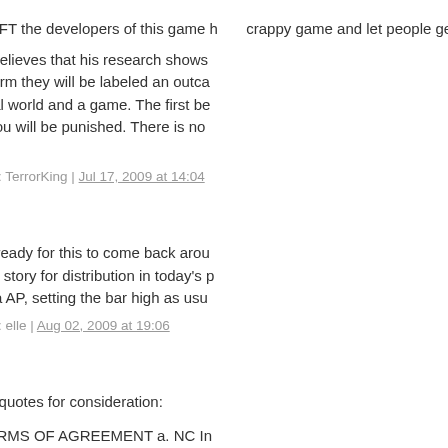3) NCSOFT the developers of this game have crappy game and let people get harrassed...
Meyers believes that his research shows not conform they will be labeled an outcast in the real world and a game. The first being caught you will be punished. There is no s... COH)
Posted by: TerrorKing | Jul 17, 2009 at 14:04
64.  Get ready for this to come back around... Picayune story for distribution in today's p... Louisiana AP, setting the bar high as usual...
Posted by: elle | Aug 02, 2009 at 19:06
65.  Two quotes for consideration:
1) "1. TERMS OF AGREEMENT a. NC In... player online computer game(s) … condit... Rules of Conduct." http://us.ncsoft.com/en.../agreement.html
2) "City of Heroes Rules of Conduct 1)...y... distress and/or unwanted attention to othe... agreements/city-of-heroes-rules-of-condu...